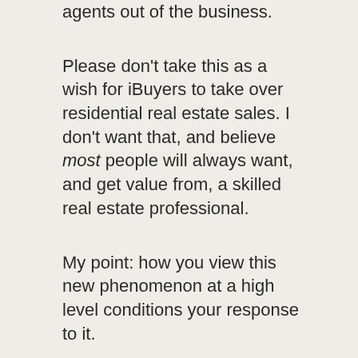agents out of the business.
Please don’t take this as a wish for iBuyers to take over residential real estate sales. I don’t want that, and believe most people will always want, and get value from, a skilled real estate professional.
My point: how you view this new phenomenon at a high level conditions your response to it.
If you view iBuyers as inherently bad, or